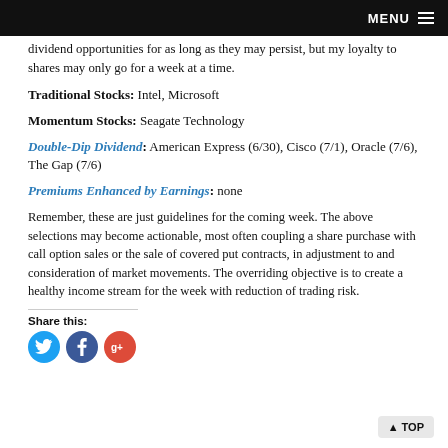MENU
dividend opportunities for as long as they may persist, but my loyalty to shares may only go for a week at a time.
Traditional Stocks: Intel, Microsoft
Momentum Stocks: Seagate Technology
Double-Dip Dividend: American Express (6/30), Cisco (7/1), Oracle (7/6), The Gap (7/6)
Premiums Enhanced by Earnings: none
Remember, these are just guidelines for the coming week. The above selections may become actionable, most often coupling a share purchase with call option sales or the sale of covered put contracts, in adjustment to and consideration of market movements. The overriding objective is to create a healthy income stream for the week with reduction of trading risk.
Share this: